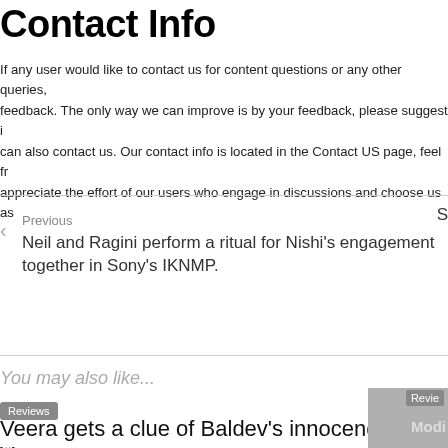Contact Info
If any user would like to contact us for content questions or any other queries, feedback. The only way we can improve is by your feedback, please suggest i can also contact us. Our contact info is located in the Contact US page, feel fr appreciate the effort of our users who engage in discussions and choose us as
Previous
Neil and Ragini perform a ritual for Nishi's engagement together in Sony's IKNMP.
You may also like...
Reviews
Veera gets a clue of Baldev's innocence in Veera
...